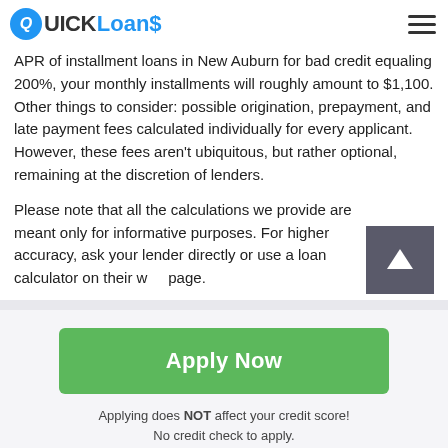QUICK Loans
APR of installment loans in New Auburn for bad credit equaling 200%, your monthly installments will roughly amount to $1,100. Other things to consider: possible origination, prepayment, and late payment fees calculated individually for every applicant. However, these fees aren't ubiquitous, but rather optional, remaining at the discretion of lenders.
Please note that all the calculations we provide are meant only for informative purposes. For higher accuracy, ask your lender directly or use a loan calculator on their web page.
Apply Now
Applying does NOT affect your credit score!
No credit check to apply.